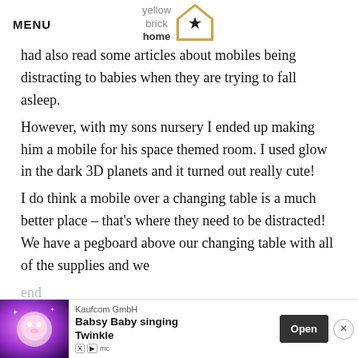MENU | yellow brick home
had also read some articles about mobiles being distracting to babies when they are trying to fall asleep. However, with my sons nursery I ended up making him a mobile for his space themed room. I used glow in the dark 3D planets and it turned out really cute! I do think a mobile over a changing table is a much better place – that's where they need to be distracted! We have a pegboard above our changing table with all of the supplies and we
[Figure (screenshot): Advertisement banner for Kaufcom GmbH - Babsy Baby singing Twinkle app with Open button]